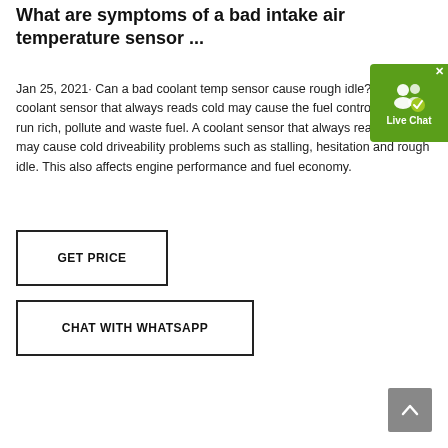What are symptoms of a bad intake air temperature sensor ...
Jan 25, 2021· Can a bad coolant temp sensor cause rough idle? A faulty coolant sensor that always reads cold may cause the fuel control system to run rich, pollute and waste fuel. A coolant sensor that always reads hot may cause cold driveability problems such as stalling, hesitation and rough idle. This also affects engine performance and fuel economy.
[Figure (other): GET PRICE button — bordered rectangle button with bold uppercase text]
[Figure (other): CHAT WITH WHATSAPP button — bordered rectangle button with bold uppercase text]
[Figure (other): Live Chat widget — green rounded button with user icon and checkmark badge, labeled Live Chat, with X close button]
[Figure (other): Scroll to top button — grey square button with upward chevron arrow]